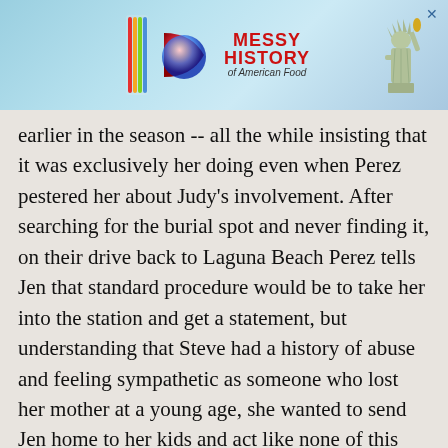[Figure (screenshot): Advertisement banner for 'Messy History of American Food' show, top of page, with rainbow bar logo, colored sphere, and Statue of Liberty graphic]
earlier in the season -- all the while insisting that it was exclusively her doing even when Perez pestered her about Judy's involvement. After searching for the burial spot and never finding it, on their drive back to Laguna Beach Perez tells Jen that standard procedure would be to take her into the station and get a statement, but understanding that Steve had a history of abuse and feeling sympathetic as someone who lost her mother at a young age, she wanted to send Jen home to her kids and act like none of this ever happened.
ADVERTISEMENT
[Figure (screenshot): Advertisement banner for 'Messy History of American Food' show, bottom of page, with rainbow bar logo, colored sphere, and Statue of Liberty graphic]